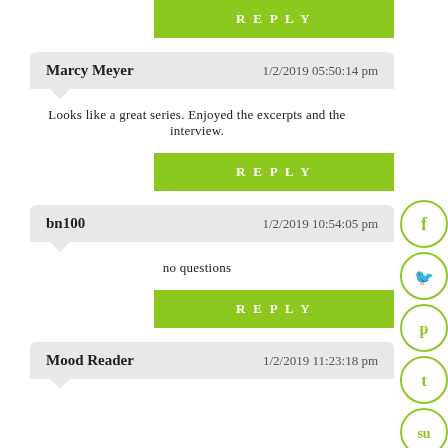REPLY
Marcy Meyer — 1/2/2019 05:50:14 pm
Looks like a great series. Enjoyed the excerpts and the interview.
REPLY
bn100 — 1/2/2019 10:54:05 pm
no questions
REPLY
Mood Reader — 1/2/2019 11:23:18 pm